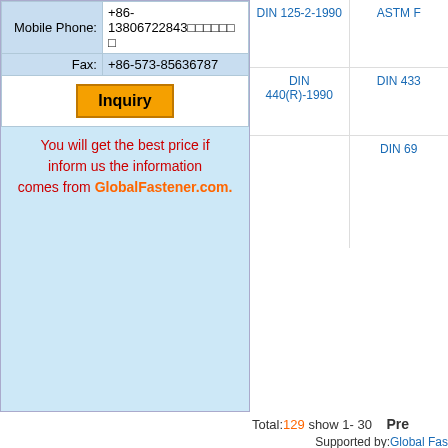| Label | Value |
| --- | --- |
| Mobile Phone: | +86-13806722843□□□□□□□ |
| Fax: | +86-573-85636787 |
Inquiry
You will get the best price if inform us the information comes from GlobalFastener.com.
DIN 125-2-1990
ASTM F
DIN 440(R)-1990
DIN 433
DIN 69
Total:129 show 1- 30
Pre
Supported by: Global Fas